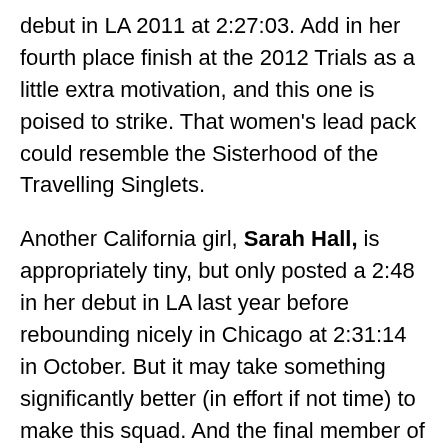debut in LA 2011 at 2:27:03.  Add in her fourth place finish at the 2012 Trials as a little extra motivation, and this one is poised to strike. That women's lead pack could resemble the Sisterhood of the Travelling Singlets.
Another California girl, Sarah Hall, is appropriately tiny, but only posted a 2:48 in her debut in LA last year before rebounding nicely in Chicago at 2:31:14 in October. But it may take something significantly better (in effort if not time) to make this squad.  And the final member of the 2012 Olympic team Kara Goucher has some meat on her bones (in a good way) and finished 11th in the London Games of 2012. How will she take the heat this time coming out of Colorado?
Finally, there is big race experience.  Athletes who know how to manage their energy coming into big events have a